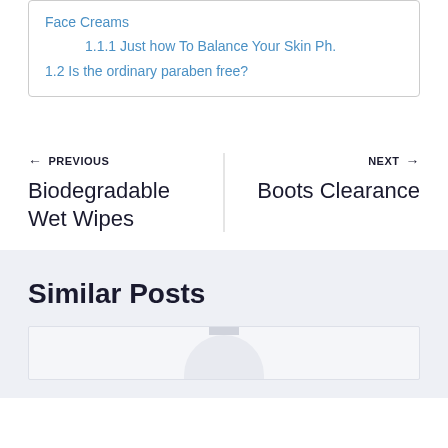Face Creams
1.1.1 Just how To Balance Your Skin Ph.
1.2 Is the ordinary paraben free?
← PREVIOUS
Biodegradable Wet Wipes
NEXT →
Boots Clearance
Similar Posts